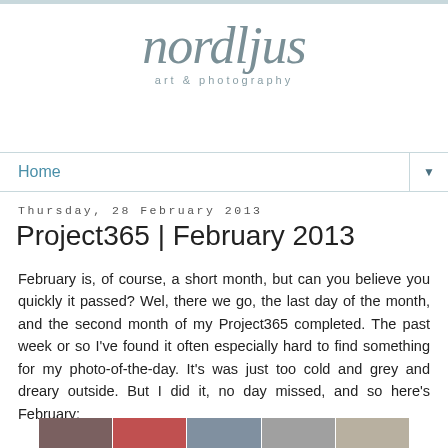nordljus
art & photography
Home
Thursday, 28 February 2013
Project365 | February 2013
February is, of course, a short month, but can you believe you quickly it passed? Wel, there we go, the last day of the month, and the second month of my Project365 completed. The past week or so I've found it often especially hard to find something for my photo-of-the-day. It's was just too cold and grey and dreary outside. But I did it, no day missed, and so here's February:
[Figure (photo): A horizontal strip of small thumbnail photos at the bottom of the page]